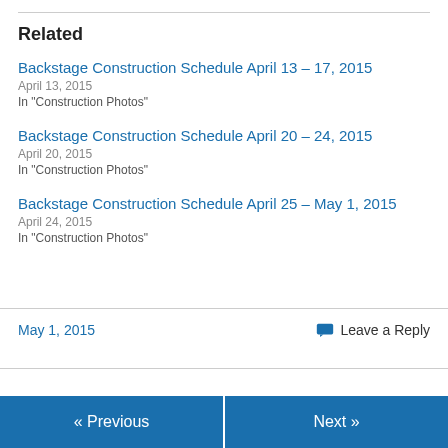Related
Backstage Construction Schedule April 13 – 17, 2015
April 13, 2015
In "Construction Photos"
Backstage Construction Schedule April 20 – 24, 2015
April 20, 2015
In "Construction Photos"
Backstage Construction Schedule April 25 – May 1, 2015
April 24, 2015
In "Construction Photos"
May 1, 2015
Leave a Reply
« Previous   Next »